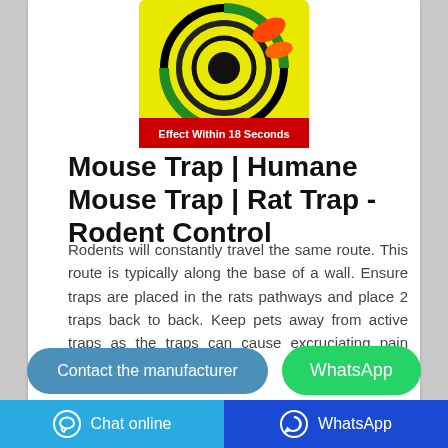[Figure (photo): Product image of a mouse/rat trap package with colorful circular design and text 'Effect Within 18 Seconds']
Mouse Trap | Humane Mouse Trap | Rat Trap - Rodent Control
Rodents will constantly travel the same route. This route is typically along the base of a wall. Ensure traps are placed in the rats pathways and place 2 traps back to back. Keep pets away from active traps as the traps can cause excruciating pain should a pet cause an ...
Contact the manufacturer
WhatsApp
Chat online  WhatsApp